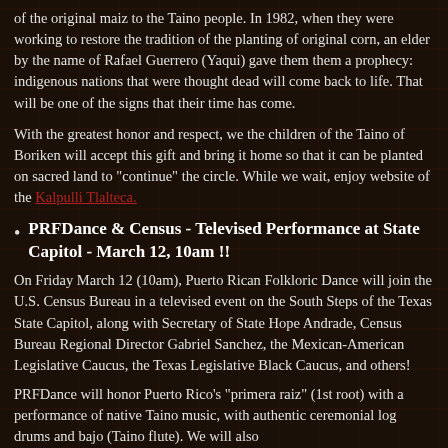of the original maiz to the Taino people. In 1982, when they were working to restore the tradition of the planting of original corn, an elder by the name of Rafael Guerrero (Yaqui) gave them them a prophecy: indigenous nations that were thought dead will come back to life. That will be one of the signs that their time has come.
With the greatest honor and respect, we the children of the Taino of Boriken will accept this gift and bring it home so that it can be planted on sacred land to "continue" the circle. While we wait, enjoy website of the Kalpulli Tlalteca.
PRFDance & Census - Televised Performance at State Capitol - March 12, 10am !!
On Friday March 12 (10am), Puerto Rican Folkloric Dance will join the U.S. Census Bureau in a televised event on the South Steps of the Texas State Capitol, along with Secretary of State Hope Andrade, Census Bureau Regional Director Gabriel Sanchez, the Mexican-American Legislative Caucus, the Texas Legislative Black Caucus, and others!
PRFDance will honor Puerto Rico's "primera raiz" (1st root) with a performance of native Taino music, with authentic ceremonial log drums and bajo (Taino flute). We will also